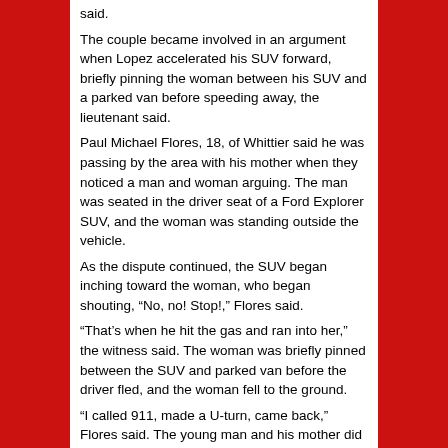said.
The couple became involved in an argument when Lopez accelerated his SUV forward, briefly pinning the woman between his SUV and a parked van before speeding away, the lieutenant said.
Paul Michael Flores, 18, of Whittier said he was passing by the area with his mother when they noticed a man and woman arguing. The man was seated in the driver seat of a Ford Explorer SUV, and the woman was standing outside the vehicle.
As the dispute continued, the SUV began inching toward the woman, who began shouting, “No, no! Stop!,” Flores said.
“That’s when he hit the gas and ran into her,” the witness said. The woman was briefly pinned between the SUV and parked van before the driver fled, and the woman fell to the ground.
“I called 911, made a U-turn, came back,” Flores said. The young man and his mother did their best to comfort and call the injured woman while relaying the information she told them to sheriff’s dispatchers via cell phone.
“She was coming in,” Flores said of the victim. “She…”